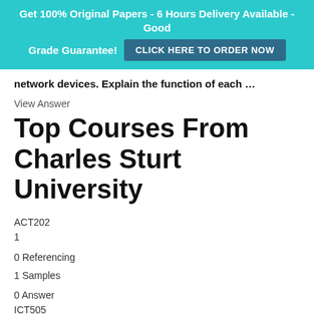Get 100% Original Papers - 6 Hours Delivery Available - Good Grade Guarantee! CLICK HERE TO ORDER NOW
network devices. Explain the function of each …
View Answer
Top Courses From Charles Sturt University
ACT202
1
0 Referencing
1 Samples
0 Answer
ICT505
1